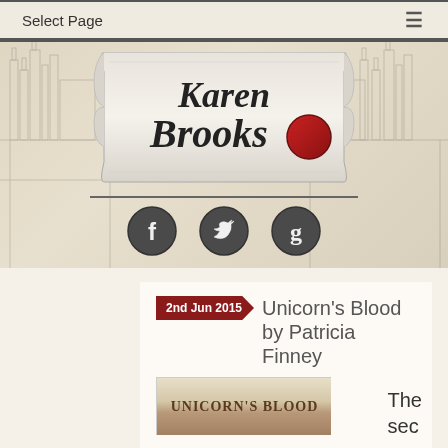Select Page
[Figure (logo): Karen Brooks author website logo with medieval banner scroll design and red wax seal, with sketch of castle/city in background]
[Figure (infographic): Three social media icons in dark wax seal style: Facebook (f), Twitter (bird), Goodreads (g)]
2nd Jun 2015
Unicorn's Blood by Patricia Finney
[Figure (photo): Book cover for Unicorn's Blood showing title text in ornate style]
The sec